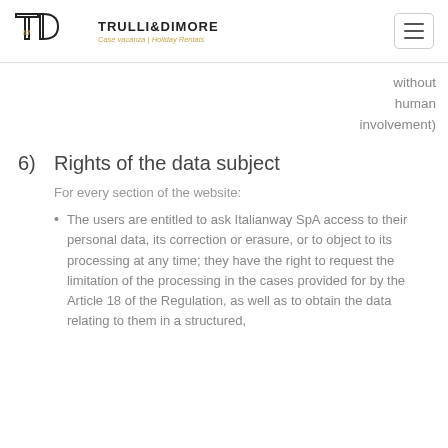TRULLI&DIMORE | Case vacanza | Holiday Rentals
without human involvement)
6) Rights of the data subject
For every section of the website:
The users are entitled to ask Italianway SpA access to their personal data, its correction or erasure, or to object to its processing at any time; they have the right to request the limitation of the processing in the cases provided for by the Article 18 of the Regulation, as well as to obtain the data relating to them in a structured,